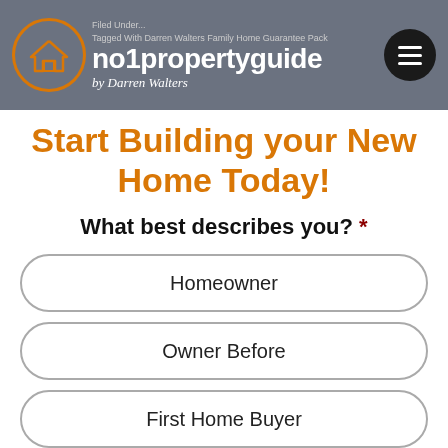no1propertyguide by Darren Walters — Filed Under / Tagged With Darren Walters Family Home Guarantee Pack
Start Building your New Home Today!
What best describes you? *
Homeowner
Owner Before
First Home Buyer